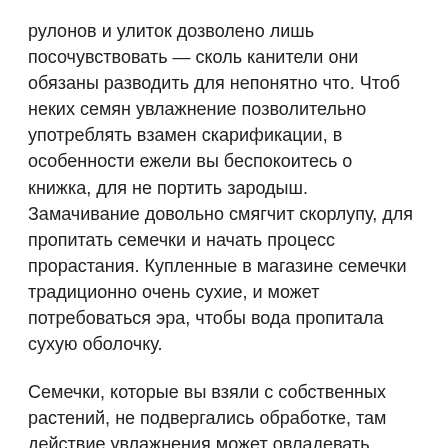рулонов и улиток дозволено лишь посочувствовать — сколь канители они обязаны разводить для непонятно что. Чтоб неких семян увлажнение позволительно употреблять взамен скарификации, в особенности ежели вы беспокоитесь о книжка, для не портить зародыш. Замачивание довольно смягчит скорлупу, для пропитать семечки и начать процесс прорастания. Купленные в магазине семечки традиционно очень сухие, и может потребоваться эра, чтобы вода пропитала сухую оболочку.
Семечки, которые вы взяли с собственных растений, не подвергались обработке, там действие увлажнения может овладевать меньше времени. Отлично работает увлажнение на семенах пряных травок, содержащих в оболочке эфирные масла. Анис, укроп, лаванда, некий зонтичные культуры нуждаются в подготовительном замачивании. Все семечки нередко хранят из года в год, и присутствие неверном либо больно долгом хранении они могут утратить всхожесть и плохо прорасти, быть может